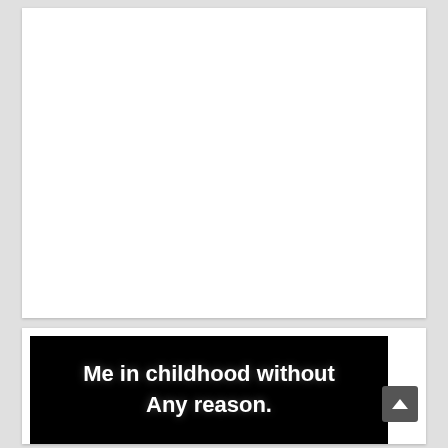[Figure (other): White blank card area at top of page]
[Figure (other): Black background image with white bold text reading: Me in childhood without Any reason.]